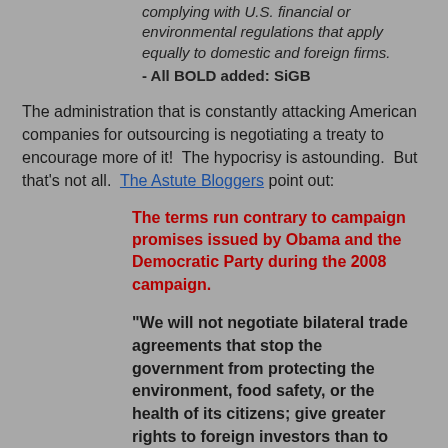complying with U.S. financial or environmental regulations that apply equally to domestic and foreign firms.
- All BOLD added: SiGB
The administration that is constantly attacking American companies for outsourcing is negotiating a treaty to encourage more of it!  The hypocrisy is astounding.  But that's not all.  The Astute Bloggers point out:
The terms run contrary to campaign promises issued by Obama and the Democratic Party during the 2008 campaign.
"We will not negotiate bilateral trade agreements that stop the government from protecting the environment, food safety, or the health of its citizens; give greater rights to foreign investors than to U.S. investors; require the